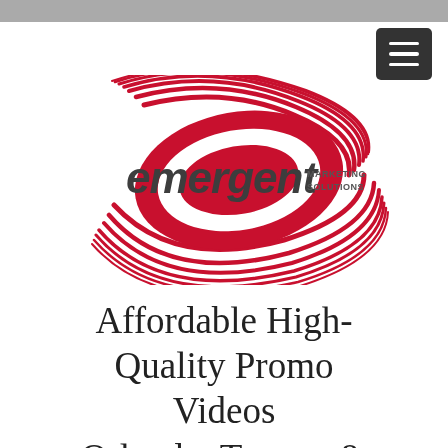[Figure (logo): Emergent Marketing Solutions logo — red swirling oval shape with the word 'emergent' in dark gray italic lowercase letters and 'MARKETING SOLUTIONS' in small dark gray caps to the right]
Affordable High-Quality Promo Videos Orlando, Tampa, & Jacksonville